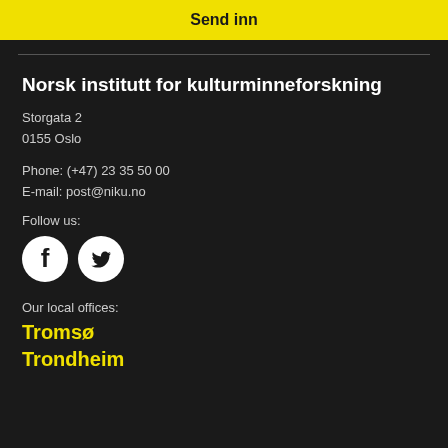Send inn
Norsk institutt for kulturminneforskning
Storgata 2
0155 Oslo
Phone: (+47) 23 35 50 00
E-mail: post@niku.no
Follow us:
[Figure (logo): Facebook and Twitter social media icons (white circles with f and bird logos on dark background)]
Our local offices:
Tromsø
Trondheim